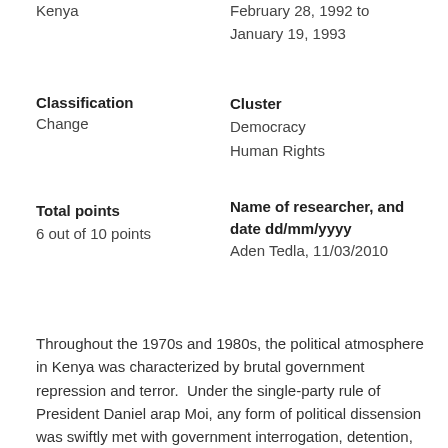Kenya
February 28, 1992 to January 19, 1993
Classification
Change
Cluster
Democracy
Human Rights
Total points
6 out of 10 points
Name of researcher, and date dd/mm/yyyy
Aden Tedla, 11/03/2010
Throughout the 1970s and 1980s, the political atmosphere in Kenya was characterized by brutal government repression and terror.  Under the single-party rule of President Daniel arap Moi, any form of political dissension was swiftly met with government interrogation, detention, and torture.  Many students, journalists, lawyers, and human rights advocates were among those imprisoned for perceived anti-government statements, ideas, and actions.
MIT students campaign for divestment from apartheid